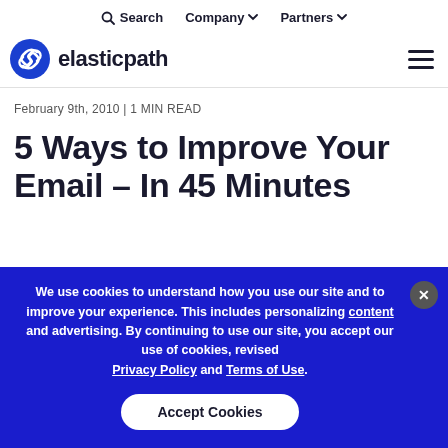Search  Company ▾  Partners ▾
[Figure (logo): Elastic Path logo with blue swirl icon and 'elasticpath' wordmark]
February 9th, 2010 | 1 MIN READ
5 Ways to Improve Your Email – In 45 Minutes
We use cookies to understand how you use our site and to improve your experience. This includes personalizing content and advertising. By continuing to use our site, you accept our use of cookies, revised Privacy Policy and Terms of Use.
Accept Cookies